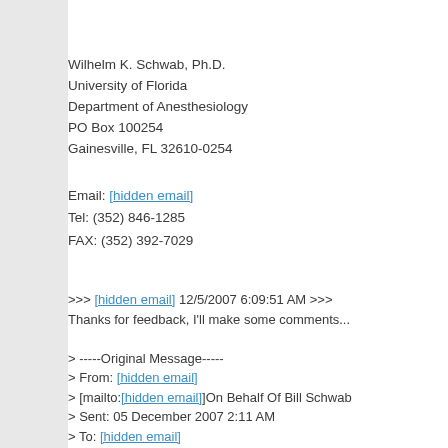Wilhelm K. Schwab, Ph.D.
University of Florida
Department of Anesthesiology
PO Box 100254
Gainesville, FL 32610-0254
Email: [hidden email]
Tel: (352) 846-1285
FAX: (352) 392-7029
>>> [hidden email] 12/5/2007 6:09:51 AM >>>
Thanks for feedback, I'll make some comments...
> -----Original Message-----
> From: [hidden email]
> [mailto:[hidden email]]On Behalf Of Bill Schwab
> Sent: 05 December 2007 2:11 AM
> To: [hidden email]
> Subject: [UI] More feel observations
>
>
> Gary,
>
> I did some more "real" programming today (working on a port of my